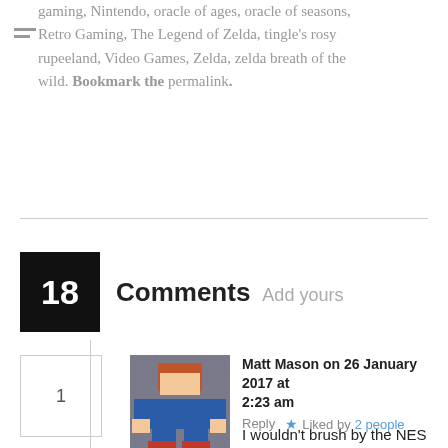gaming, Nintendo, oracle of ages, oracle of seasons, Retro Gaming, The Legend of Zelda, tingle's rosy rupeeland, Video Games, Zelda, zelda breath of the wild. Bookmark the permalink.
18 Comments  Add yours
Matt Mason on 26 January 2017 at 2:23 am  Reply  ★ Liked by 2 people
I wouldn't brush by the NES Zelda games; with a proper guide they can still be a lot of fun! I actually love Zelda 2 and kind of wish they'd remaster/revisit it because there are unique elements that would make it